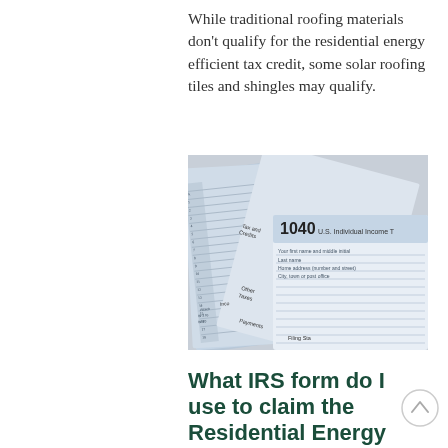While traditional roofing materials don't qualify for the residential energy efficient tax credit, some solar roofing tiles and shingles may qualify.
[Figure (photo): Photo of multiple overlapping IRS tax forms including a 1040 U.S. Individual Income Tax form prominently displayed]
What IRS form do I use to claim the Residential Energy Credit?